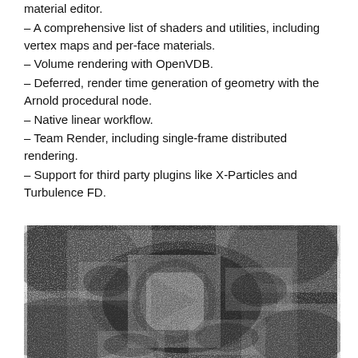material editor.
– A comprehensive list of shaders and utilities, including vertex maps and per-face materials.
– Volume rendering with OpenVDB.
– Deferred, render time generation of geometry with the Arnold procedural node.
– Native linear workflow.
– Team Render, including single-frame distributed rendering.
– Support for third party plugins like X-Particles and Turbulence FD.
[Figure (photo): Black and white photograph of a 3D rendered or sculpted sand/stone surface with raised geometric arrow/play-button shape symbols embedded in it, textured and grainy.]